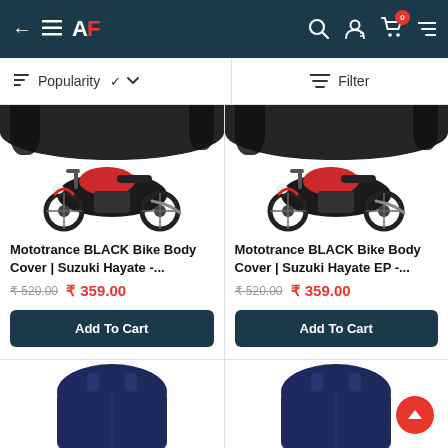← ≡ AF | 🔍 👤 🛒 (0)
Popularity ∨   Filter
[Figure (photo): Mototrance BLACK bike body cover draped over a Suzuki Hayate motorcycle, showing the motorcycle exposed from the side with cover partially on top]
Mototrance BLACK Bike Body Cover | Suzuki Hayate -...
₹ 520.00   ₹ 359.00
Add To Cart
[Figure (photo): Mototrance BLACK bike body cover draped over a Suzuki Hayate EP motorcycle, showing the motorcycle exposed from the side with cover partially on top]
Mototrance BLACK Bike Body Cover | Suzuki Hayate EP -...
₹ 520.00   ₹ 359.00
Add To Cart
[Figure (photo): Partial view of a dark navy blue bike body cover bag]
[Figure (photo): Partial view of a dark navy blue bike body cover bag]